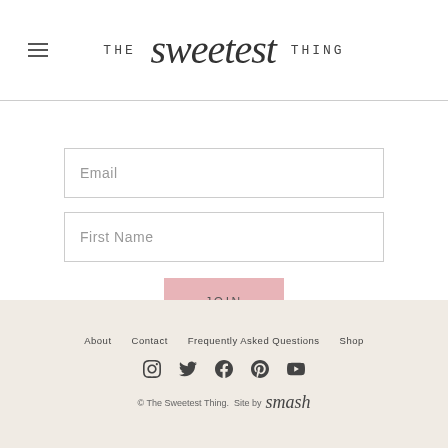[Figure (logo): The Sweetest Thing logo with hamburger menu icon on left]
[Figure (infographic): Email input field placeholder]
[Figure (infographic): First Name input field placeholder]
[Figure (infographic): JOIN button in pink]
About   Contact   Frequently Asked Questions   Shop
© The Sweetest Thing.  Site by smash